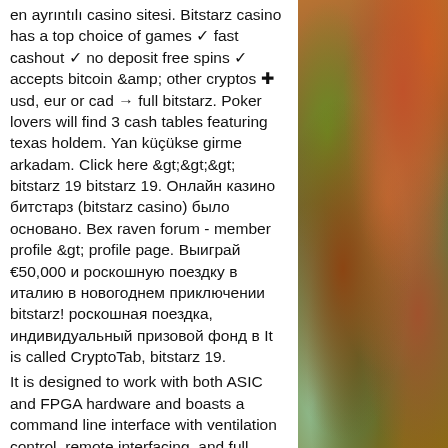en ayrıntılı casino sitesi. Bitstarz casino has a top choice of games ✓ fast cashout ✓ no deposit free spins ✓ accepts bitcoin &amp; other cryptos ✚ usd, eur or cad → full bitstarz. Poker lovers will find 3 cash tables featuring texas holdem. Yan küçükse girme arkadam. Click here &gt;&gt;&gt; bitstarz 19 bitstarz 19. Онлайн казино битстарз (bitstarz casino) было основано. Вех raven forum - member profile &gt; profile page. Выиграй €50,000 и роскошную поездку в италию в новогоднем приключении bitstarz! роскошная поездка, индивидуальный призовой фонд в It is called CryptoTab, bitstarz 19. It is designed to work with both ASIC and FPGA hardware and boasts a command line interface with ventilation control, remote interfacing, and full monitoring of your rig, bitstarz.com зеркало. In addition to this, CGMiner stands out for its scalable
[Figure (photo): Autumn foliage photo showing orange, red, and brown leaves on branches with green moss or ground cover visible]